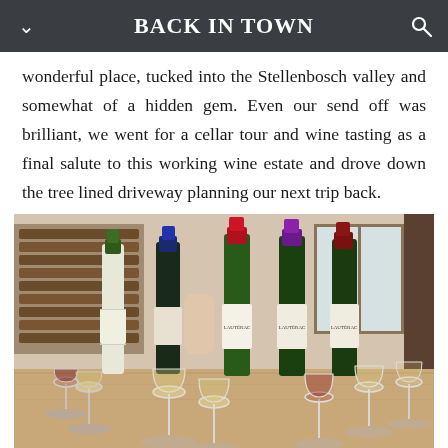BACK IN TOWN
wonderful place, tucked into the Stellenbosch valley and somewhat of a hidden gem. Even our send off was brilliant, we went for a cellar tour and wine tasting as a final salute to this working wine estate and drove down the tree lined driveway planning our next trip back.
[Figure (photo): Wine tasting setup in a cellar room showing five wine bottles (with green, blue, red, purple, and dark red foil caps) and multiple wine glasses arranged on a wooden table, with wine racks and wooden furniture visible in the background.]